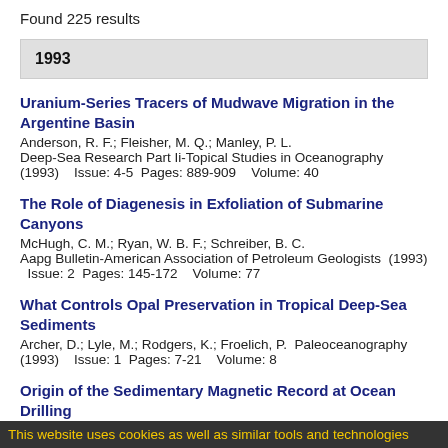Found 225 results
1993
Uranium-Series Tracers of Mudwave Migration in the Argentine Basin
Anderson, R. F.; Fleisher, M. Q.; Manley, P. L.
Deep-Sea Research Part Ii-Topical Studies in Oceanography
(1993)    Issue: 4-5  Pages: 889-909    Volume: 40
The Role of Diagenesis in Exfoliation of Submarine Canyons
McHugh, C. M.; Ryan, W. B. F.; Schreiber, B. C.
Aapg Bulletin-American Association of Petroleum Geologists  (1993)
  Issue: 2  Pages: 145-172    Volume: 77
What Controls Opal Preservation in Tropical Deep-Sea Sediments
Archer, D.; Lyle, M.; Rodgers, K.; Froelich, P.  Paleoceanography
(1993)    Issue: 1  Pages: 7-21    Volume: 8
Origin of the Sedimentary Magnetic Record at Ocean Drilling
This website uses cookies as well as similar tools and technologies